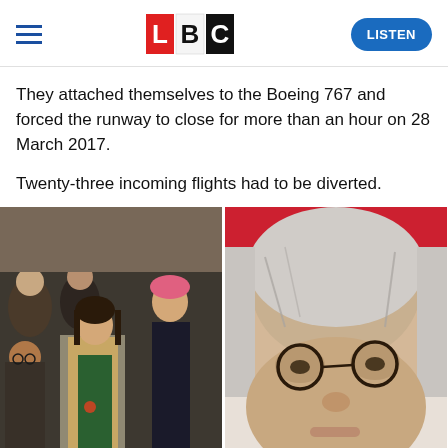LBC — LISTEN
They attached themselves to the Boeing 767 and forced the runway to close for more than an hour on 28 March 2017.
Twenty-three incoming flights had to be diverted.
[Figure (photo): Left: group of protesters celebrating, one with fist raised, women in foreground. Right: close-up of a man with grey hair and round glasses.]